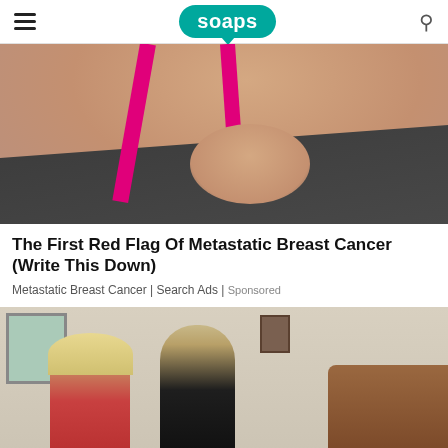soaps
[Figure (photo): Woman in a dark sports bra with pink straps holding her chest/breast area against a light background]
The First Red Flag Of Metastatic Breast Cancer (Write This Down)
Metastatic Breast Cancer | Search Ads | Sponsored
[Figure (photo): Older couple (woman with blonde hair and glasses, man in dark shirt) sitting beside a wooden bed in a bedroom]